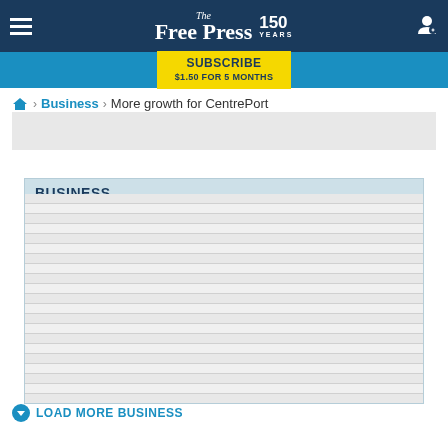The Free Press 150 Years
SUBSCRIBE $1.50 FOR 5 MONTHS
🏠 > Business > More growth for CentrePort
[Figure (other): Advertisement placeholder (grey rectangle)]
BUSINESS
LOAD MORE BUSINESS